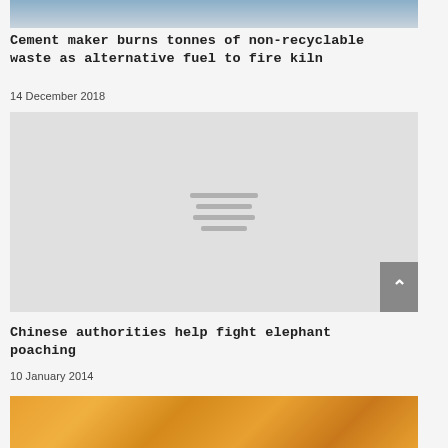[Figure (photo): Top portion of a photo showing a person outdoors]
Cement maker burns tonnes of non-recyclable waste as alternative fuel to fire kiln
14 December 2018
[Figure (photo): Placeholder image with loading indicator lines in center]
Chinese authorities help fight elephant poaching
10 January 2014
[Figure (photo): Bottom portion of a photo showing orange/yellow geometric pattern]